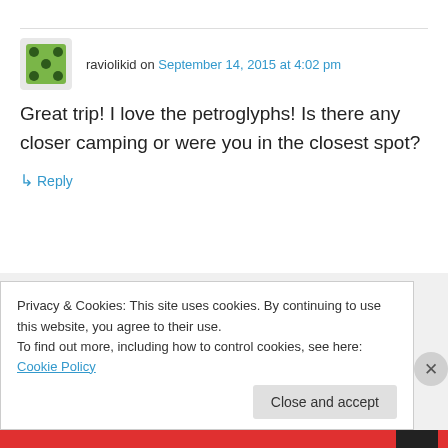raviolikid on September 14, 2015 at 4:02 pm
Great trip! I love the petroglyphs! Is there any closer camping or were you in the closest spot?
↳ Reply
placestheygo on September 14, 2015 at 9:36 pm
Glad you enjoyed our tour:) There are
Privacy & Cookies: This site uses cookies. By continuing to use this website, you agree to their use.
To find out more, including how to control cookies, see here: Cookie Policy
Close and accept